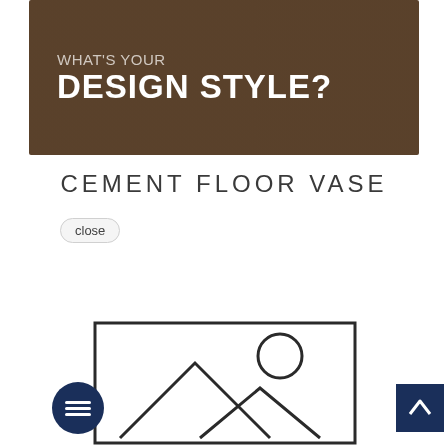[Figure (photo): Banner image with dark overlay showing interior design imagery with text 'WHAT'S YOUR DESIGN STYLE?']
CEMENT FLOOR VASE
close
[Figure (screenshot): Chat popup bubble with female avatar and text 'Hi there! Have a question? Text us here!']
[Figure (illustration): Simple line drawing of mountains/landscape with circle (sun), two mountain triangles, and a rectangle frame. Dark navy chat icon button (three lines) on left. Dark navy scroll-to-top button with caret on right.]